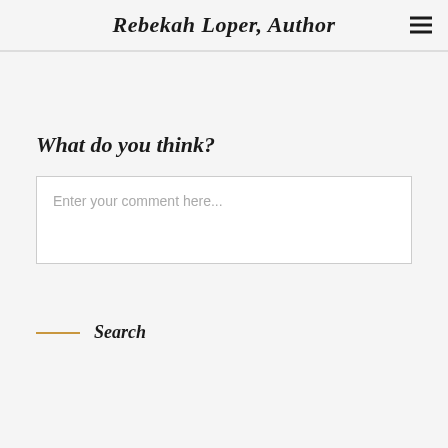Rebekah Loper, Author
What do you think?
Enter your comment here...
Search